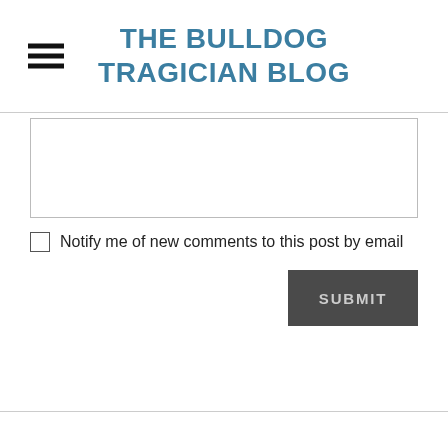THE BULLDOG TRAGICIAN BLOG
[Figure (other): Text input textarea box (empty comment field)]
Notify me of new comments to this post by email
[Figure (other): Submit button with text SUBMIT]